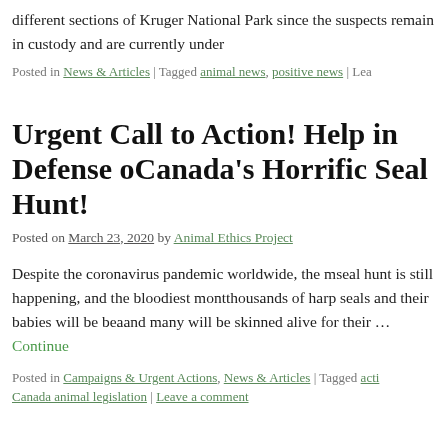different sections of Kruger National Park since the suspects remain in custody and are currently under
Posted in News & Articles | Tagged animal news, positive news | Lea
Urgent Call to Action! Help in Defense of Canada's Horrific Seal Hunt!
Posted on March 23, 2020 by Animal Ethics Project
Despite the coronavirus pandemic worldwide, the seal hunt is still happening, and the bloodiest month thousands of harp seals and their babies will be bea and many will be skinned alive for their … Continue
Posted in Campaigns & Urgent Actions, News & Articles | Tagged acti Canada animal legislation | Leave a comment
Fake Animal News Abounds on Social M Upends Life